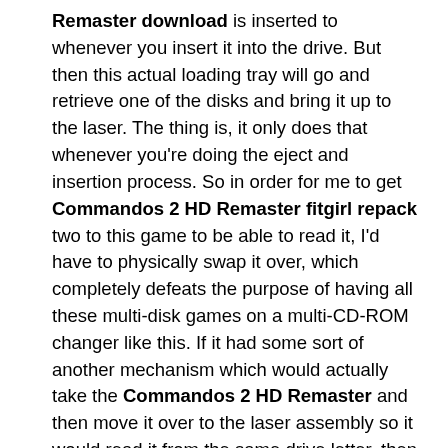Remaster download is inserted to whenever you insert it into the drive. But then this actual loading tray will go and retrieve one of the disks and bring it up to the laser. The thing is, it only does that whenever you're doing the eject and insertion process. So in order for me to get Commandos 2 HD Remaster fitgirl repack two to this game to be able to read it, I'd have to physically swap it over, which completely defeats the purpose of having all these multi-disk games on a multi-CD-ROM changer like this. If it had some sort of another mechanism which would actually take the Commandos 2 HD Remaster and then move it over to the laser assembly so it would read it from the same drive letter, then that would be ideal for F&V games, multi-disk games like this that just swap out and don't actually ask for another drive letter. Since this is looking for the same drive letter every single time a disk swap occurs, then we're stuck with this